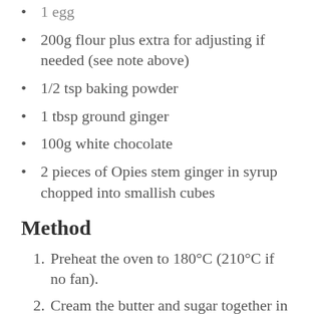1 egg
200g flour plus extra for adjusting if needed (see note above)
1/2 tsp baking powder
1 tbsp ground ginger
100g white chocolate
2 pieces of Opies stem ginger in syrup chopped into smallish cubes
Method
Preheat the oven to 180°C (210°C if no fan).
Cream the butter and sugar together in a large mixing bowl.
Add the egg and stir.
Combine the flour, baking powder and ginger in another bowl. Gradually add to the wet mixture